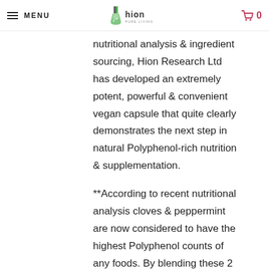MENU | Hion Pure Living logo | 0 (cart)
nutritional analysis & ingredient sourcing, Hion Research Ltd has developed an extremely potent, powerful & convenient vegan capsule that quite clearly demonstrates the next step in natural Polyphenol-rich nutrition & supplementation.

**According to recent nutritional analysis cloves & peppermint are now considered to have the highest Polyphenol counts of any foods. By blending these 2 nutritional powerhouses with an improved 22:1, Green Tea Extract (with a 95% Polyphenol count, 70% Catechins &